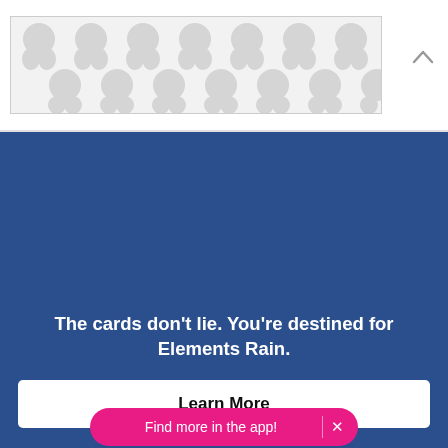[Figure (illustration): Decorative pattern box with repeating grey balloon/drop shapes on light grey background, inside a border]
The cards don't lie. You're destined for Elements Rain.
Learn More
Find more in the app!  ×